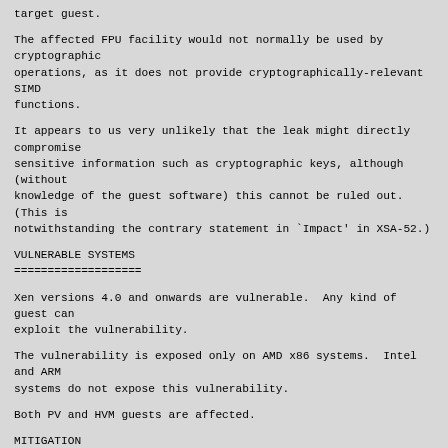target guest.
The affected FPU facility would not normally be used by cryptographic
operations, as it does not provide cryptographically-relevant SIMD
functions.
It appears to us very unlikely that the leak might directly compromise
sensitive information such as cryptographic keys, although (without
knowledge of the guest software) this cannot be ruled out.  (This is
notwithstanding the contrary statement in `Impact' in XSA-52.)
VULNERABLE SYSTEMS
==================
Xen versions 4.0 and onwards are vulnerable.  Any kind of guest can
exploit the vulnerability.
The vulnerability is exposed only on AMD x86 systems.  Intel and ARM
systems do not expose this vulnerability.
Both PV and HVM guests are affected.
MITIGATION